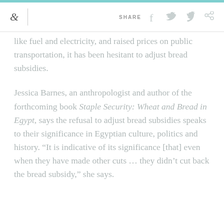& | SHARE
like fuel and electricity, and raised prices on public transportation, it has been hesitant to adjust bread subsidies.
Jessica Barnes, an anthropologist and author of the forthcoming book Staple Security: Wheat and Bread in Egypt, says the refusal to adjust bread subsidies speaks to their significance in Egyptian culture, politics and history. “It is indicative of its significance [that] even when they have made other cuts … they didn’t cut back the bread subsidy,” she says.